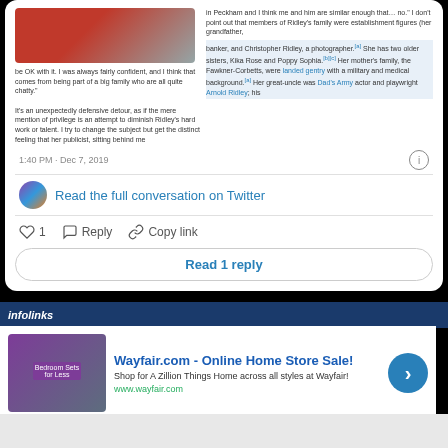[Figure (screenshot): Twitter/X embedded tweet screenshot showing a two-column layout with a photo of a woman in red on the left and Wikipedia-style text about Ridley's family on the right. Below the tweet content is a timestamp of 1:40 PM Dec 7, 2019 with an info icon.]
Read the full conversation on Twitter
♡ 1   Reply   Copy link
Read 1 reply
infolinks
Wayfair.com - Online Home Store Sale!
Shop for A Zillion Things Home across all styles at Wayfair!
www.wayfair.com